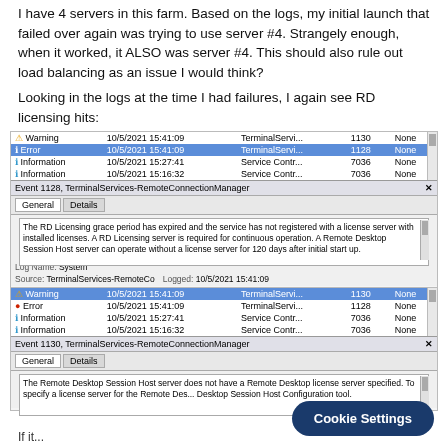I have 4 servers in this farm. Based on the logs, my initial launch that failed over again was trying to use server #4. Strangely enough, when it worked, it ALSO was server #4. This should also rule out load balancing as an issue I would think?
Looking in the logs at the time I had failures, I again see RD licensing hits:
[Figure (screenshot): Windows Event Viewer screenshot showing log entries with Warning (10/5/2021 15:41:09, TerminalServi..., 1130, None), Error highlighted in blue (10/5/2021 15:41:09, TerminalServi..., 1128, None), Information (10/5/2021 15:27:41, Service Contr..., 7036, None), Information (10/5/2021 15:16:32, Service Contr..., 7036, None). Below is Event 1128, TerminalServices-RemoteConnectionManager dialog with General and Details tabs, showing message about RD Licensing grace period expiry. Log Name: System, Source: TerminalServices-RemoteCo, Logged: 10/5/2021 15:41:09. Second log section shows Warning highlighted in blue (10/5/2021 15:41:09, TerminalServi..., 1130, None), Error (10/5/2021 15:41:09, TerminalServi..., 1128, None), Information x2. Event 1130 dialog showing The Remote Desktop Session Host server does not have a Remote Desktop license server specified message.]
[Figure (screenshot): Cookie Settings button overlay at bottom right]
If it...